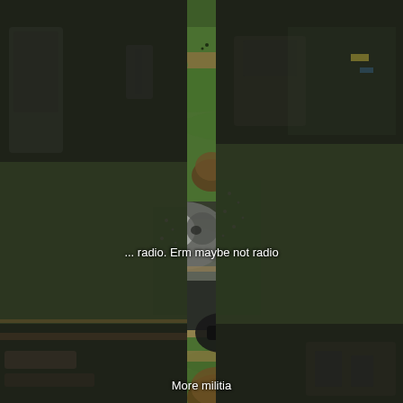[Figure (photo): Aerial view of a miniature wargame table with green terrain, model trees, miniature vehicles and soldiers arranged on a green felt battlefield]
... radio. Erm maybe not radio
[Figure (photo): A cat looking at camera in front of blurred wargame table, overlapping with top image. Room background with shelves visible.]
[Figure (photo): Another angle of the miniature wargame table showing green terrain with model trees, miniature soldiers, and a person standing behind the table]
More militia